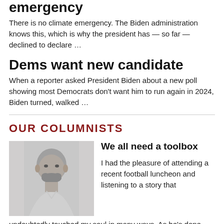emergency
There is no climate emergency. The Biden administration knows this, which is why the president has — so far — declined to declare …
Dems want new candidate
When a reporter asked President Biden about a new poll showing most Democrats don't want him to run again in 2024, Biden turned, walked …
OUR COLUMNISTS
[Figure (photo): Black and white headshot of a bald man with a beard, smiling]
We all need a toolbox
I had the pleasure of attending a recent football luncheon and listening to a story that undoubtedly touched my soul in many ways. As he's done